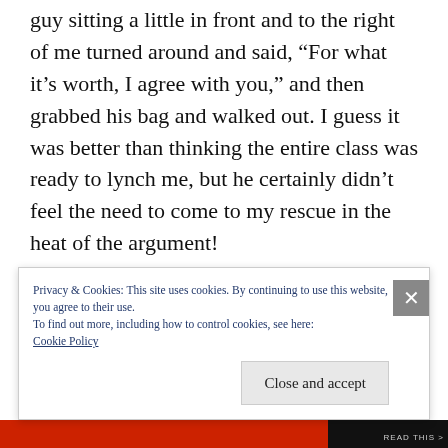guy sitting a little in front and to the right of me turned around and said, “For what it’s worth, I agree with you,” and then grabbed his bag and walked out. I guess it was better than thinking the entire class was ready to lynch me, but he certainly didn’t feel the need to come to my rescue in the heat of the argument!
The other memorable moment from that class came right near the end of the semester. The Wall Street investment banks were beginning
Privacy & Cookies: This site uses cookies. By continuing to use this website, you agree to their use.
To find out more, including how to control cookies, see here:
Cookie Policy